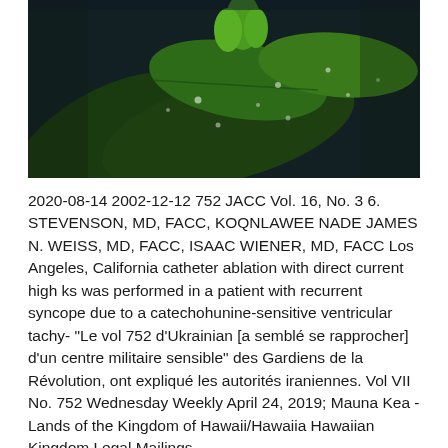[Figure (photo): Close-up photograph of green leaves with water droplets on dark background]
2020-08-14 2002-12-12 752 JACC Vol. 16, No. 3 6. STEVENSON, MD, FACC, KOQNLAWEE NADE JAMES N. WEISS, MD, FACC, ISAAC WIENER, MD, FACC Los Angeles, California catheter ablation with direct current high ks was performed in a patient with recurrent syncope due to a catechohunine-sensitive ventricular tachy- "Le vol 752 d'Ukrainian [a semblé se rapprocher] d'un centre militaire sensible" des Gardiens de la Révolution, ont expliqué les autorités iraniennes. Vol VII No. 752 Wednesday Weekly April 24, 2019; Mauna Kea - Lands of the Kingdom of Hawaii/Hawaiia Hawaiian Kingdom Legal Mailings